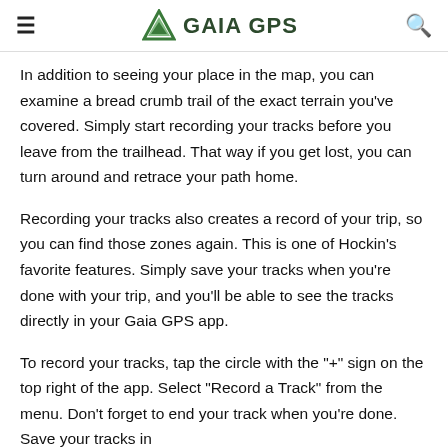GAIA GPS
In addition to seeing your place in the map, you can examine a bread crumb trail of the exact terrain you've covered. Simply start recording your tracks before you leave from the trailhead. That way if you get lost, you can turn around and retrace your path home.
Recording your tracks also creates a record of your trip, so you can find those zones again. This is one of Hockin's favorite features. Simply save your tracks when you're done with your trip, and you'll be able to see the tracks directly in your Gaia GPS app.
To record your tracks, tap the circle with the "+" sign on the top right of the app. Select “Record a Track” from the menu. Don't forget to end your track when you're done. Save your tracks in your Gaia GPS app to access your route information for future...